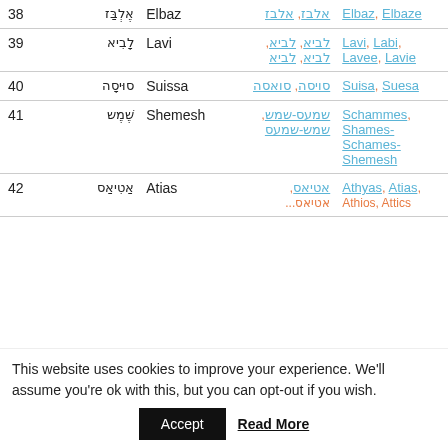| # | Hebrew | Latin | Hebrew Variants | Latin Variants |
| --- | --- | --- | --- | --- |
| 38 | אֶלְבַּז | Elbaz | אלבז, אלבז | Elbaz, Elbaze |
| 39 | לָבִיא | Lavi | לביא, לביא, לביא, לביא | Lavi, Labi, Lavee, Lavie |
| 40 | סוּיסָה | Suissa | סויסה, סואסה | Suisa, Suesa |
| 41 | שֶׁמֶש | Shemesh | שמעס-שמש, שמש-שמעס | Schammes, Shames-Schames-Shemesh |
| 42 | אַטִיאַס | Atias | אטיאס, ... | Athyas, Atias, Athios, Attics |
This website uses cookies to improve your experience. We'll assume you're ok with this, but you can opt-out if you wish.
Accept   Read More